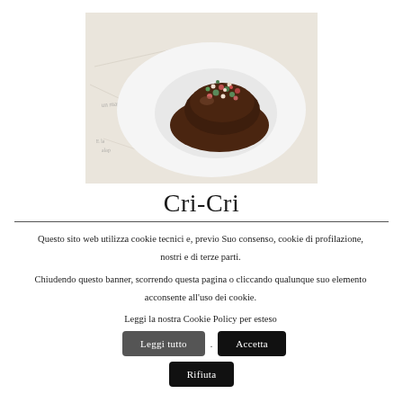[Figure (photo): A chocolate truffle with colorful sprinkles on top, sitting in a white ceramic bowl/plate]
Cri-Cri
Questo sito web utilizza cookie tecnici e, previo Suo consenso, cookie di profilazione, nostri e di terze parti.
Chiudendo questo banner, scorrendo questa pagina o cliccando qualunque suo elemento acconsente all'uso dei cookie.
Leggi la nostra Cookie Policy per esteso
Leggi tutto
Accetta
Rifiuta